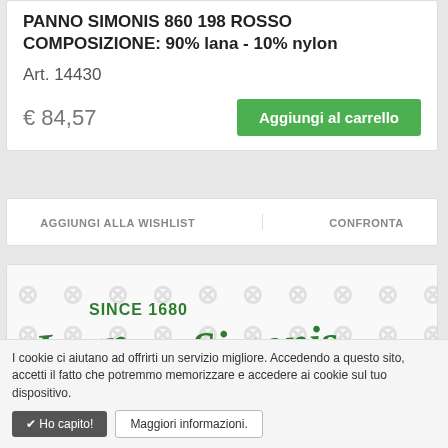PANNO SIMONIS 860 198 ROSSO COMPOSIZIONE: 90% lana - 10% nylon
Art. 14430
€ 84,57
Aggiungi al carrello
AGGIUNGI ALLA WISHLIST
CONFRONTA
[Figure (logo): Iwan Simonis brand logo with 'SINCE 1680' text, cursive green signature 'Iwan Simonis' and 'SIMONIS CLOTH' text, with watermark N pattern background]
I cookie ci aiutano ad offrirti un servizio migliore. Accedendo a questo sito, accetti il fatto che potremmo memorizzare e accedere ai cookie sul tuo dispositivo.
✔ Ho capito!
Maggiori informazioni.